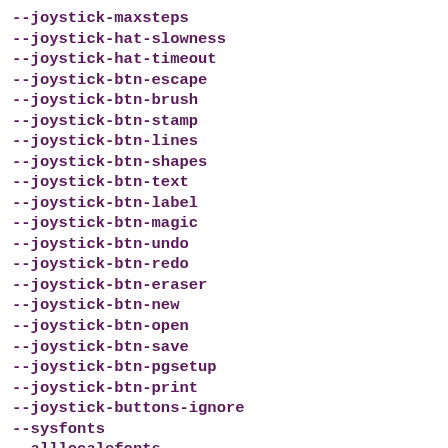--joystick-maxsteps
--joystick-hat-slowness
--joystick-hat-timeout
--joystick-btn-escape
--joystick-btn-brush
--joystick-btn-stamp
--joystick-btn-lines
--joystick-btn-shapes
--joystick-btn-text
--joystick-btn-label
--joystick-btn-magic
--joystick-btn-undo
--joystick-btn-redo
--joystick-btn-eraser
--joystick-btn-new
--joystick-btn-open
--joystick-btn-save
--joystick-btn-pgsetup
--joystick-btn-print
--joystick-buttons-ignore
--sysfonts
--alllocalefonts
--mirrorstamps
--stampsize=SIZE
--keyboard